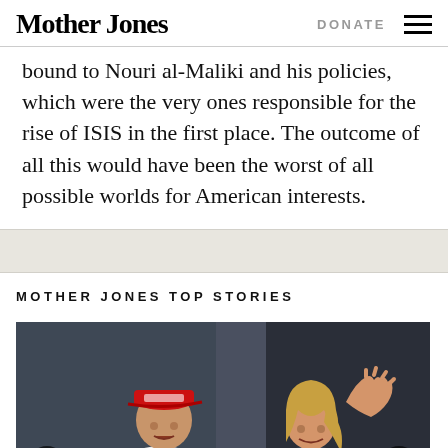Mother Jones | DONATE
bound to Nouri al-Maliki and his policies, which were the very ones responsible for the rise of ISIS in the first place. The outcome of all this would have been the worst of all possible worlds for American interests.
MOTHER JONES TOP STORIES
[Figure (photo): Photo of two people at an outdoor event: a man on the left wearing a red MAGA cap and white Trump polo shirt, and a blonde woman on the right waving her hand. Navigation arrows are visible on both sides of the image.]